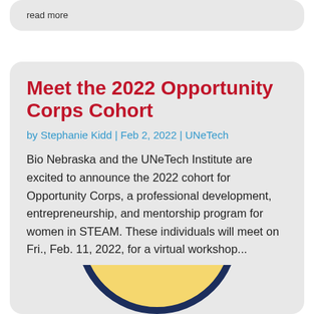read more
Meet the 2022 Opportunity Corps Cohort
by Stephanie Kidd | Feb 2, 2022 | UNeTech
Bio Nebraska and the UNeTech Institute are excited to announce the 2022 cohort for Opportunity Corps, a professional development, entrepreneurship, and mentorship program for women in STEAM. These individuals will meet on Fri., Feb. 11, 2022, for a virtual workshop...
read more
[Figure (logo): Circular badge/logo with dark navy border and yellow background showing partial text 'ER REG']